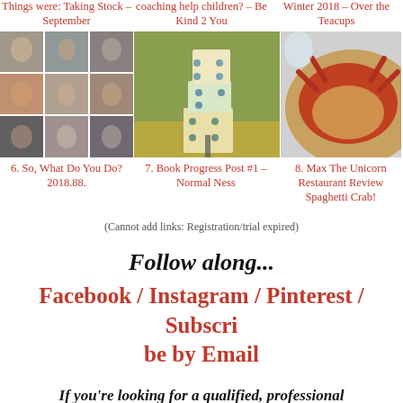Things were: Taking Stock – September
coaching help children? – Be Kind 2 You
Winter 2018 – Over the Teacups
[Figure (photo): Grid of family/people photos, black and white and color]
[Figure (photo): Stacked decorative cubes/dice outdoors]
[Figure (photo): Plate of spaghetti with crab/seafood]
6. So, What Do You Do? 2018.88.
7. Book Progress Post #1 – Normal Ness
8. Max The Unicorn Restaurant Review Spaghetti Crab!
(Cannot add links: Registration/trial expired)
Follow along...
Facebook / Instagram / Pinterest / Subscribe by Email
If you're looking for a qualified, professional